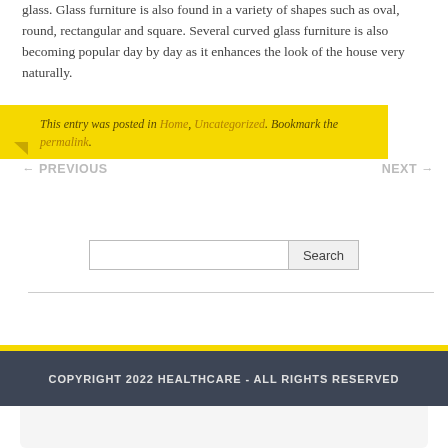glass. Glass furniture is also found in a variety of shapes such as oval, round, rectangular and square. Several curved glass furniture is also becoming popular day by day as it enhances the look of the house very naturally.
This entry was posted in Home, Uncategorized. Bookmark the permalink.
← PREVIOUS
NEXT →
Search
COPYRIGHT 2022 HEALTHCARE - ALL RIGHTS RESERVED